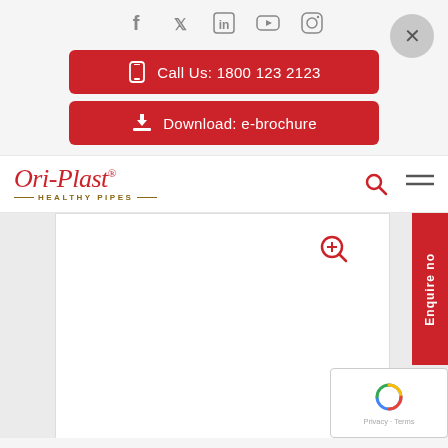[Figure (screenshot): Social media icons row: Facebook, Twitter, LinkedIn, YouTube, Instagram]
Call Us: 1800 123 2123
Download: e-brochure
[Figure (logo): Ori-Plast Healthy Pipes logo in red cursive with golden tagline]
Enquire now